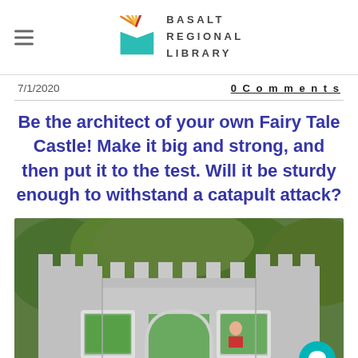BASALT REGIONAL LIBRARY
7/1/2020
0 Comments
Be the architect of your own Fairy Tale Castle! Make it big and strong, and then put it to the test. Will it be sturdy enough to withstand a catapult attack?
[Figure (photo): A cardboard castle with battlements, windows, and an arched doorway, photographed outdoors in a garden setting. A small doll figure is visible through one of the windows.]